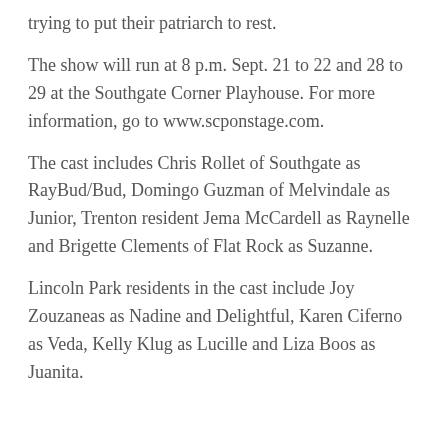trying to put their patriarch to rest.
The show will run at 8 p.m. Sept. 21 to 22 and 28 to 29 at the Southgate Corner Playhouse. For more information, go to www.scponstage.com.
The cast includes Chris Rollet of Southgate as RayBud/Bud, Domingo Guzman of Melvindale as Junior, Trenton resident Jema McCardell as Raynelle and Brigette Clements of Flat Rock as Suzanne.
Lincoln Park residents in the cast include Joy Zouzaneas as Nadine and Delightful, Karen Ciferno as Veda, Kelly Klug as Lucille and Liza Boos as Juanita.